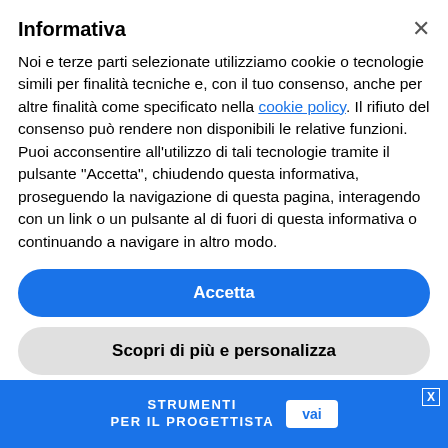Informativa
Noi e terze parti selezionate utilizziamo cookie o tecnologie simili per finalità tecniche e, con il tuo consenso, anche per altre finalità come specificato nella cookie policy. Il rifiuto del consenso può rendere non disponibili le relative funzioni. Puoi acconsentire all'utilizzo di tali tecnologie tramite il pulsante “Accetta”, chiudendo questa informativa, proseguendo la navigazione di questa pagina, interagendo con un link o un pulsante al di fuori di questa informativa o continuando a navigare in altro modo.
Accetta
Scopri di più e personalizza
products.
STRUMENTI PER IL PROGETTISTA vai